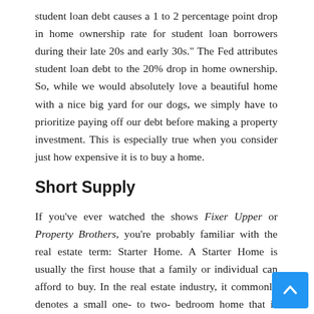student loan debt causes a 1 to 2 percentage point drop in home ownership rate for student loan borrowers during their late 20s and early 30s." The Fed attributes student loan debt to the 20% drop in home ownership. So, while we would absolutely love a beautiful home with a nice big yard for our dogs, we simply have to prioritize paying off our debt before making a property investment. This is especially true when you consider just how expensive it is to buy a home.
Short Supply
If you've ever watched the shows Fixer Upper or Property Brothers, you're probably familiar with the real estate term: Starter Home. A Starter Home is usually the first house that a family or individual can afford to buy. In the real estate industry, it commonly denotes a small one- to two- bedroom home that is older and may require a bit of renovating. As it turns